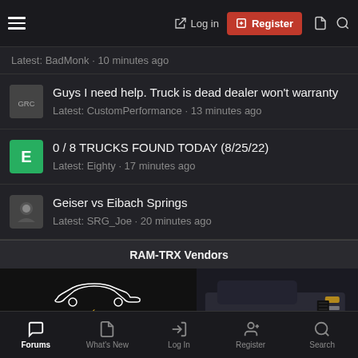Log in | Register
Latest: BadMonk · 10 minutes ago
Guys I need help. Truck is dead dealer won't warranty
Latest: CustomPerformance · 13 minutes ago
0 / 8 TRUCKS FOUND TODAY (8/25/22)
Latest: Eighty · 17 minutes ago
Geiser vs Eibach Springs
Latest: SRG_Joe · 20 minutes ago
RAM-TRX Vendors
[Figure (screenshot): Just Bolt-On Performance Parts logo with car silhouette outline]
[Figure (photo): RAM TRX truck front view in dark setting]
Forums | What's New | Log In | Register | Search